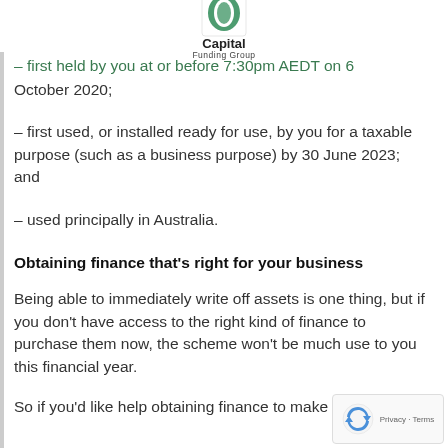Capital Funding Group
– first held by you at or before 7:30pm AEDT on 6 October 2020;
– first used, or installed ready for use, by you for a taxable purpose (such as a business purpose) by 30 June 2023; and
– used principally in Australia.
Obtaining finance that's right for your business
Being able to immediately write off assets is one thing, but if you don't have access to the right kind of finance to purchase them now, the scheme won't be much use to you this financial year.
So if you'd like help obtaining finance to make the most of terms successfully ahead of the